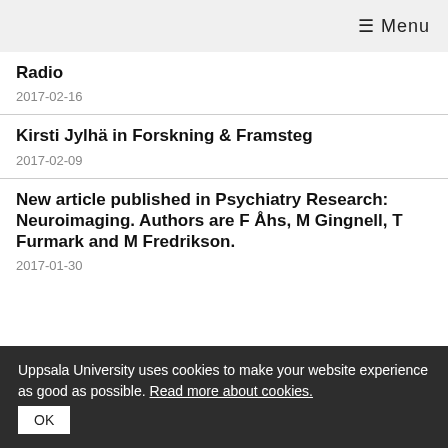☰ Menu
Radio
2017-02-16
Kirsti Jylhä in Forskning & Framsteg
2017-02-09
New article published in Psychiatry Research: Neuroimaging. Authors are F Åhs, M Gingnell, T Furmark and M Fredrikson.
2017-01-30
Uppsala University uses cookies to make your website experience as good as possible. Read more about cookies. OK